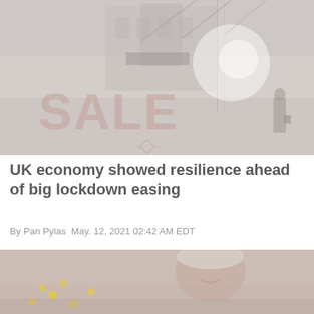[Figure (photo): Photo of a storefront window with 'SALE' text visible in faded pink/red lettering on a glass window, with a city street scene reflected. A person is visible walking. The image has a washed-out, overexposed look.]
UK economy showed resilience ahead of big lockdown easing
By Pan Pylas May. 12, 2021 02:42 AM EDT
[Figure (photo): Partially visible photo of a smiling person with short blonde/white hair, with yellow circular lights (resembling EU stars or decorative lighting) visible in the lower left. Muted warm tones.]